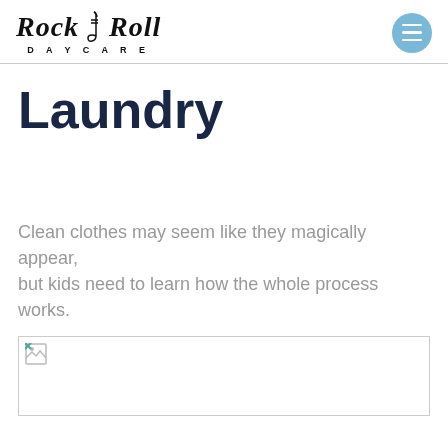Rock & Roll Daycare
Laundry
Clean clothes may seem like they magically appear, but kids need to learn how the whole process works.
[Figure (photo): Broken/missing image placeholder at the bottom of the page]